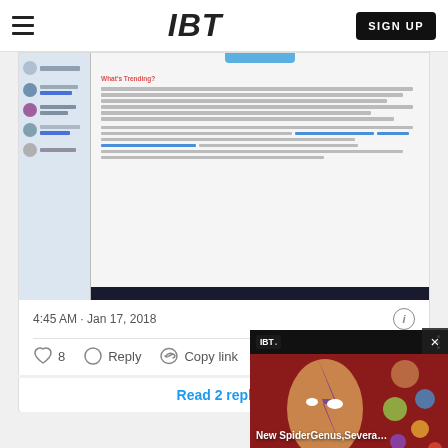IBT
[Figure (screenshot): Screenshot of a Twitter/social media post showing a desktop application window with a left panel containing user avatars and names, and a right panel with text content about YouTube Partner Programme. A taskbar is visible at the bottom.]
4:45 AM · Jan 17, 2018
♡ 8   Reply   Copy link
Read 2 replies
[Figure (screenshot): Video overlay showing IBT logo badge, three dots menu, a portrait image with colorful lightning bolt face paint (David Bowie style) and colorful planet spheres on a dark background. Caption reads: New SpiderGenus,Severa…]